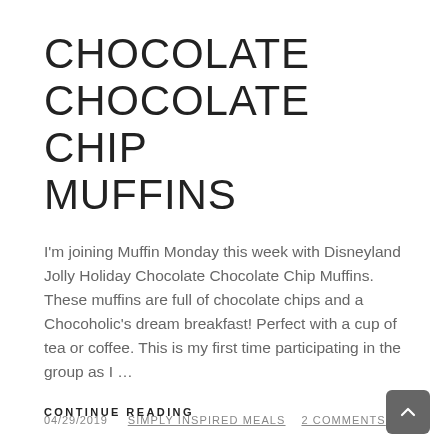CHOCOLATE CHOCOLATE CHIP MUFFINS
I'm joining Muffin Monday this week with Disneyland Jolly Holiday Chocolate Chocolate Chip Muffins. These muffins are full of chocolate chips and a Chocoholic's dream breakfast! Perfect with a cup of tea or coffee. This is my first time participating in the group as I …
CONTINUE READING
04/29/2019  SIMPLY INSPIRED MEALS  2 COMMENTS